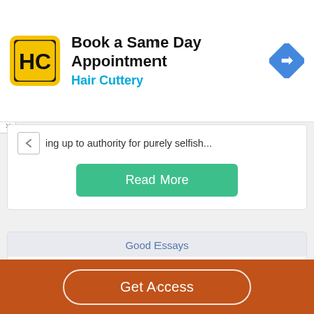[Figure (logo): Hair Cuttery advertisement banner with HC logo, title 'Book a Same Day Appointment', subtitle 'Hair Cuttery', and a blue navigation diamond icon]
…ing up to authority for purely selfish…
Read More
Good Essays
Episodic Memories In Young Goodman Brown And The Lottery By Shirley Jackson
Get Access